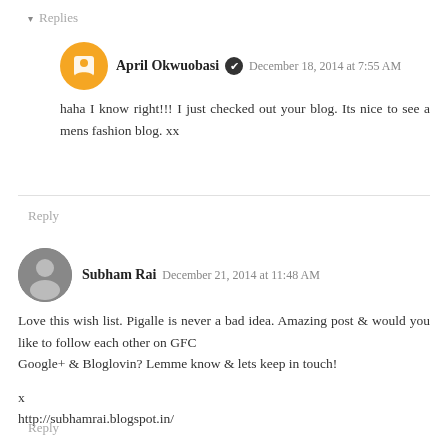▾  Replies
April Okwuobasi ✔  December 18, 2014 at 7:55 AM
haha I know right!!! I just checked out your blog. Its nice to see a mens fashion blog. xx
Reply
Subham Rai  December 21, 2014 at 11:48 AM
Love this wish list. Pigalle is never a bad idea. Amazing post & would you like to follow each other on GFC
Google+ & Bloglovin? Lemme know & lets keep in touch!

x
http://subhamrai.blogspot.in/
Reply